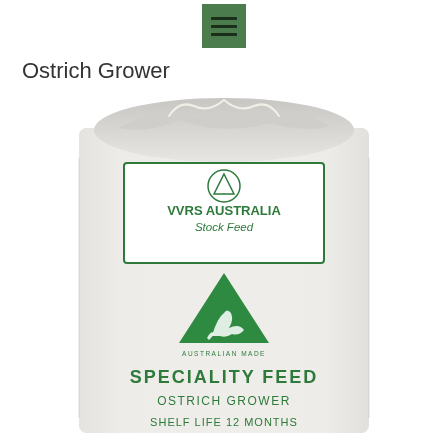[hamburger/menu icon]
Ostrich Grower
[Figure (photo): A white woven polypropylene sack of VVRS Australia Stock Feed, labeled 'Speciality Feed - Ostrich Grower - Shelf Life 12 Months' with an Australian Made logo (green triangle with kangaroo), and a green rectangular label showing 'VVRS Australia Stock Feed' with a triangle logo at top.]